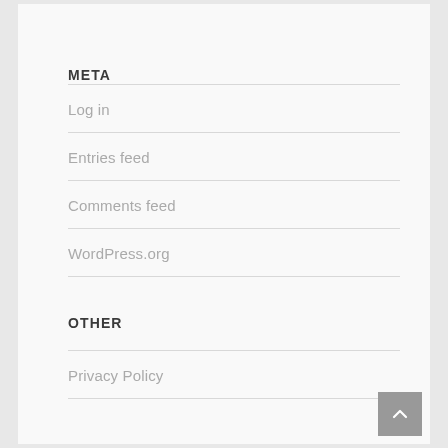META
Log in
Entries feed
Comments feed
WordPress.org
OTHER
Privacy Policy